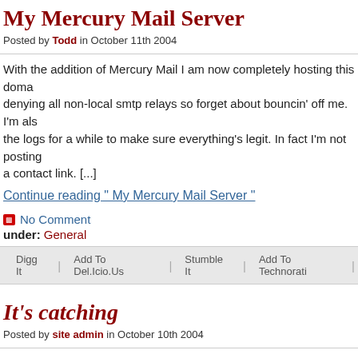My Mercury Mail Server
Posted by Todd in October 11th 2004
With the addition of Mercury Mail I am now completely hosting this doma... denying all non-local smtp relays so forget about bouncin' off me. I'm als... the logs for a while to make sure everything's legit. In fact I'm not posting a contact link. [...]
Continue reading " My Mercury Mail Server "
No Comment
under: General
Digg It | Add To Del.Icio.Us | Stumble It | Add To Technorati
It's catching
Posted by site admin in October 10th 2004
It seems abcnews.com had the same idea (but probably long ago) to cha...